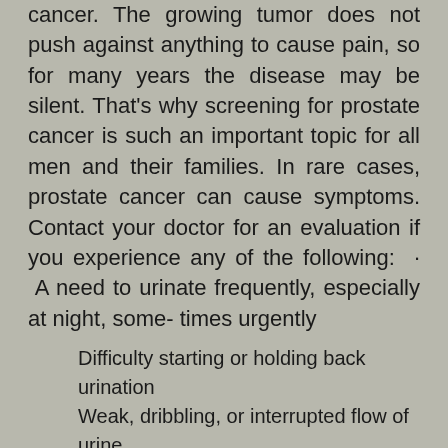cancer. The growing tumor does not push against anything to cause pain, so for many years the disease may be silent. That’s why screening for prostate cancer is such an important topic for all men and their families. In rare cases, prostate cancer can cause symptoms. Contact your doctor for an evaluation if you experience any of the following: · A need to urinate frequently, especially at night, some- times urgently
Difficulty starting or holding back urination
Weak, dribbling, or interrupted flow of urine
Painful or burning urination
Difficulty in having an erection
A decrease in the amount of fluid ejaculated